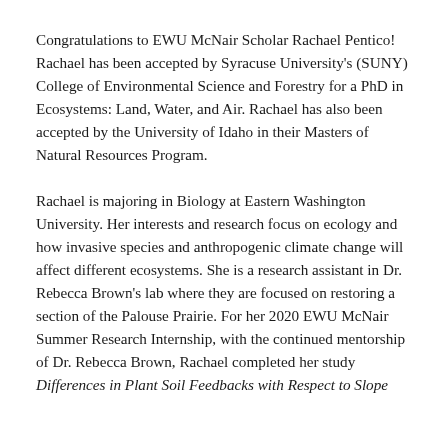Congratulations to EWU McNair Scholar Rachael Pentico! Rachael has been accepted by Syracuse University's (SUNY) College of Environmental Science and Forestry for a PhD in Ecosystems: Land, Water, and Air. Rachael has also been accepted by the University of Idaho in their Masters of Natural Resources Program.
Rachael is majoring in Biology at Eastern Washington University. Her interests and research focus on ecology and how invasive species and anthropogenic climate change will affect different ecosystems. She is a research assistant in Dr. Rebecca Brown's lab where they are focused on restoring a section of the Palouse Prairie. For her 2020 EWU McNair Summer Research Internship, with the continued mentorship of Dr. Rebecca Brown, Rachael completed her study Differences in Plant Soil Feedbacks with Respect to Slope